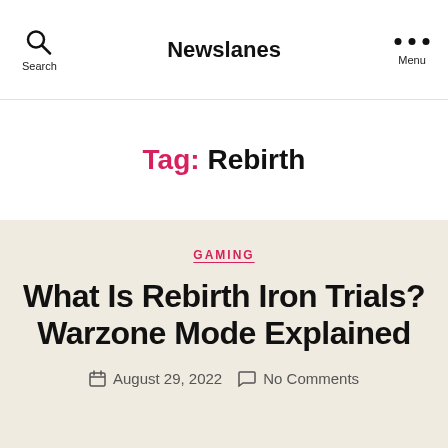Newslanes
Tag: Rebirth
GAMING
What Is Rebirth Iron Trials? Warzone Mode Explained
August 29, 2022  No Comments